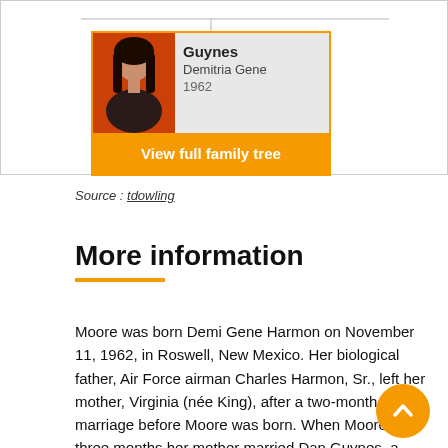[Figure (infographic): Family tree card showing a person named Guynes, Demitria Gene, born 1962, with a photo of a dark-haired woman on a red background, and an orange 'View full family tree' button below.]
Source : tdowling
More information
Moore was born Demi Gene Harmon on November 11, 1962, in Roswell, New Mexico. Her biological father, Air Force airman Charles Harmon, Sr., left her mother, Virginia (née King), after a two-month marriage before Moore was born. When Moore was three months her mother married Dan Guynes, a newspaper advertising salesman who frequently changed jobs. As a result, the family moved many times. Moore said in